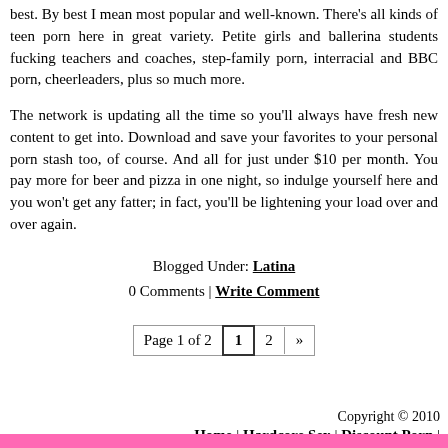best. By best I mean most popular and well-known. There's all kinds of teen porn here in great variety. Petite girls and ballerina students fucking teachers and coaches, step-family porn, interracial and BBC porn, cheerleaders, plus so much more.
The network is updating all the time so you'll always have fresh new content to get into. Download and save your favorites to your personal porn stash too, of course. And all for just under $10 per month. You pay more for beer and pizza in one night, so indulge yourself here and you won't get any fatter; in fact, you'll be lightening your load over and over again.
Blogged Under: Latina
0 Comments | Write Comment
Page 1 of 2  1  2  »
Copyright © 2010
Home | Hardcore Sex | Discount Porn |